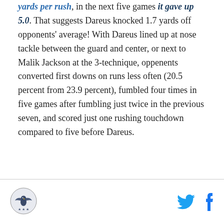yards per rush, in the next five games it gave up 5.0. That suggests Dareus knocked 1.7 yards off opponents' average! With Dareus lined up at nose tackle between the guard and center, or next to Malik Jackson at the 3-technique, oppenents converted first downs on runs less often (20.5 percent from 23.9 percent), fumbled four times in five games after fumbling just twice in the previous seven, and scored just one rushing touchdown compared to five before Dareus.
[Figure (logo): Sports team logo - circular emblem with eagle/wings design]